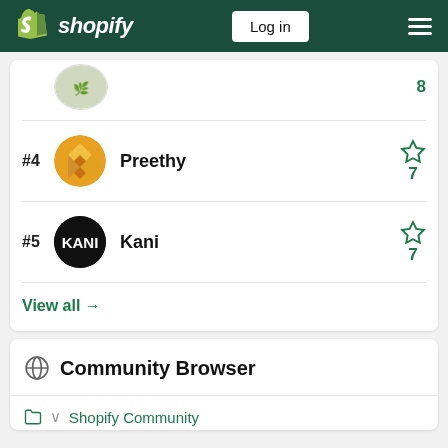Shopify — Log in
#4 Preethy — 7 stars
#5 Kani — 7 stars
View all →
Community Browser
Shopify Community